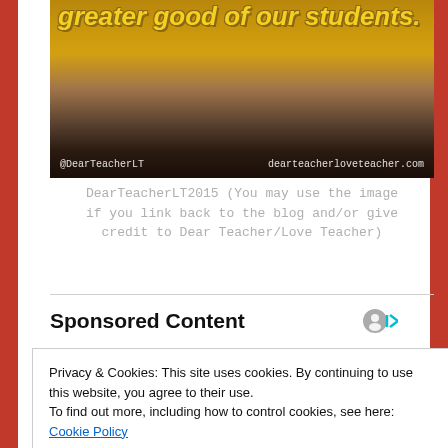[Figure (photo): Blog post image with sunset/ocean background and yellow bold italic text reading 'greater good of our students.' with watermark '@DearTeacherLT dearteacherloveteacher.com']
DearTeacherLT2015 (You may use the image if you link back to the blog and/or give credit to Dear Teacher/Love Teacher)
Sponsored Content
Privacy & Cookies: This site uses cookies. By continuing to use this website, you agree to their use.
To find out more, including how to control cookies, see here: Cookie Policy
Close and accept